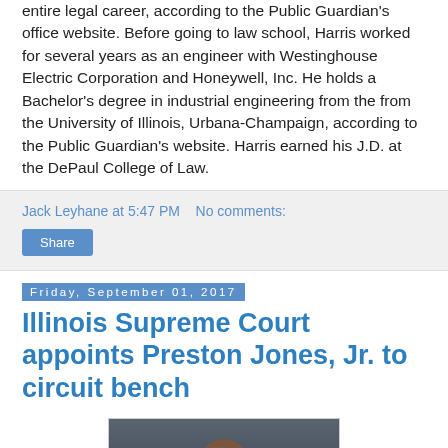entire legal career, according to the Public Guardian's office website. Before going to law school, Harris worked for several years as an engineer with Westinghouse Electric Corporation and Honeywell, Inc. He holds a Bachelor's degree in industrial engineering from the from the University of Illinois, Urbana-Champaign, according to the Public Guardian's website. Harris earned his J.D. at the DePaul College of Law.
Jack Leyhane at 5:47 PM   No comments:
Share
Friday, September 01, 2017
Illinois Supreme Court appoints Preston Jones, Jr. to circuit bench
[Figure (photo): Headshot portrait of Preston Jones Jr., a bald Black man wearing glasses, photographed against a dark gray background]